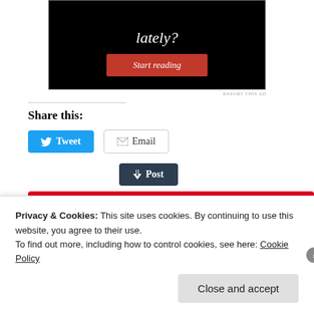[Figure (screenshot): Ad banner with black background showing italic white text 'lately?' and a red 'Start reading' button]
REPORT THIS AD
Share this:
Tweet  Email  Post
Save
Like  Be the first to like this.
Privacy & Cookies: This site uses cookies. By continuing to use this website, you agree to their use. To find out more, including how to control cookies, see here: Cookie Policy
Close and accept